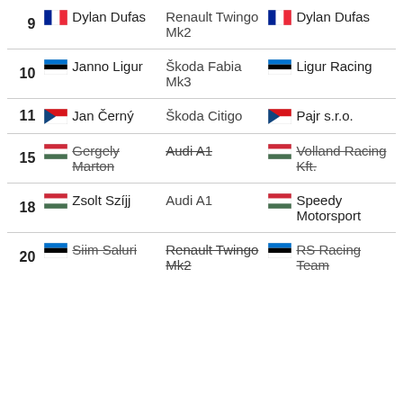| # | Driver | Car | Team |
| --- | --- | --- | --- |
| 9 | Dylan Dufas | Renault Twingo Mk2 | Dylan Dufas |
| 10 | Janno Ligur | Škoda Fabia Mk3 | Ligur Racing |
| 11 | Jan Černý | Škoda Citigo | Pajr s.r.o. |
| 15 | Gergely Marton (struck) | Audi A1 (struck) | Volland Racing Kft. (struck) |
| 18 | Zsolt Szíjj | Audi A1 | Speedy Motorsport |
| 20 | Siim Saluri (struck) | Renault Twingo Mk2 (struck) | RS Racing Team (struck) |